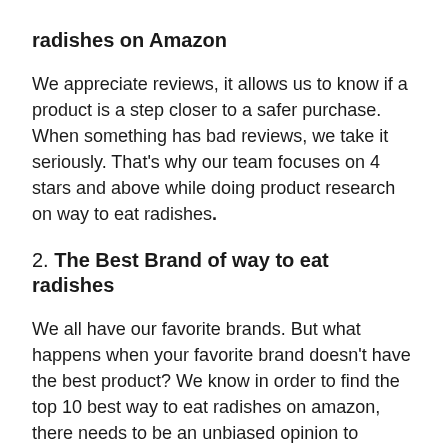radishes on Amazon
We appreciate reviews, it allows us to know if a product is a step closer to a safer purchase. When something has bad reviews, we take it seriously. That’s why our team focuses on 4 stars and above while doing product research on way to eat radishes .
2. The Best Brand of way to eat radishes
We all have our favorite brands. But what happens when your favorite brand doesn’t have the best product? We know in order to find the top 10 best way to eat radishes on amazon, there needs to be an unbiased opinion to determine what the best brand is.